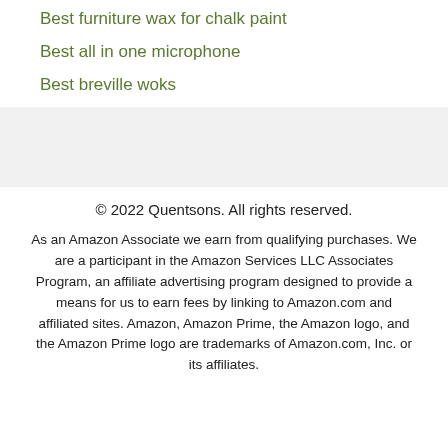Best furniture wax for chalk paint
Best all in one microphone
Best breville woks
© 2022 Quentsons. All rights reserved.
As an Amazon Associate we earn from qualifying purchases. We are a participant in the Amazon Services LLC Associates Program, an affiliate advertising program designed to provide a means for us to earn fees by linking to Amazon.com and affiliated sites. Amazon, Amazon Prime, the Amazon logo, and the Amazon Prime logo are trademarks of Amazon.com, Inc. or its affiliates.